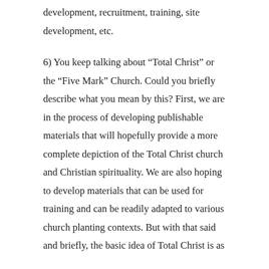development, recruitment, training, site development, etc.
6) You keep talking about “Total Christ” or the “Five Mark” Church. Could you briefly describe what you mean by this? First, we are in the process of developing publishable materials that will hopefully provide a more complete depiction of the Total Christ church and Christian spirituality. We are also hoping to develop materials that can be used for training and can be readily adapted to various church planting contexts. But with that said and briefly, the basic idea of Total Christ is as